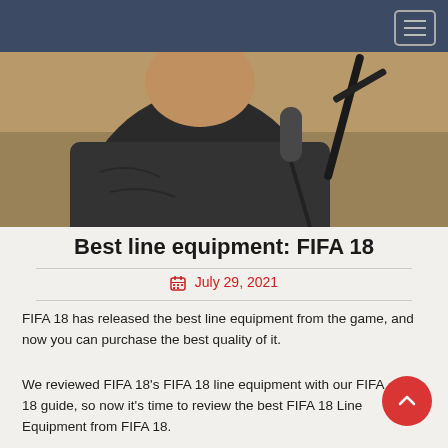[Figure (photo): A person in a dark t-shirt holding or near a microphone on a stand, with a tan/brown background. The photo is cropped showing the upper torso and part of the person's face.]
Best line equipment: FIFA 18
July 29, 2021
FIFA 18 has released the best line equipment from the game, and now you can purchase the best quality of it.
We reviewed FIFA 18's FIFA 18 line equipment with our FIFA 18 guide, so now it's time to review the best FIFA 18 Line Equipment from FIFA 18.